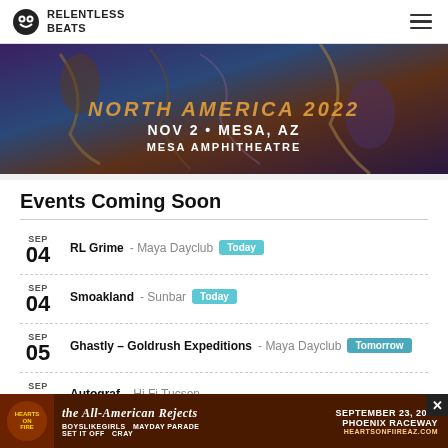Relentless Beats
[Figure (photo): Concert promotional banner showing surreal figurative artwork with text: NORTH AMERICA 2022, NOV 2 • MESA, AZ, MESA AMPHITHEATRE]
Events Coming Soon
SEP 04 - RL Grime - Maya Dayclub [Today]
SEP 04 - Smoakland - Sunbar [Today]
SEP 05 - Ghastly – Goldrush Expeditions - Maya Dayclub [Tomorrow]
SEP 08 - Autograf - Hi Fi Tucson
SEP (partial)
[Figure (infographic): Advertisement banner: The All-American Rejects, Boys Like Girls, Mayday Parade, Set It Off, Cray. September 23, 2022 Phoenix Raceway. HeartsOnFireAZ.com]